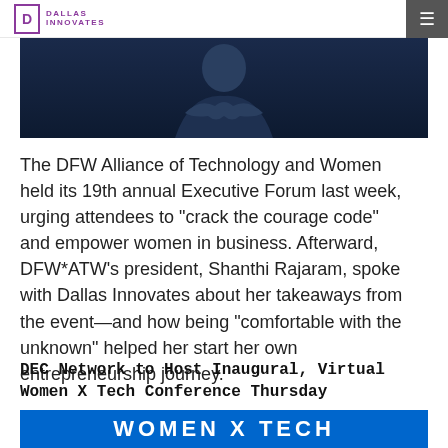DALLAS INNOVATES
[Figure (photo): Person in dark suit with arms crossed, against dark blue background]
The DFW Alliance of Technology and Women held its 19th annual Executive Forum last week, urging attendees to "crack the courage code" and empower women in business. Afterward, DFW*ATW's president, Shanthi Rajaram, spoke with Dallas Innovates about her takeaways from the event—and how being "comfortable with the unknown" helped her start her own entrepreneurship journey.
DEC Network to Host Inaugural, Virtual Women X Tech Conference Thursday
[Figure (photo): Women X Tech conference banner image in blue]